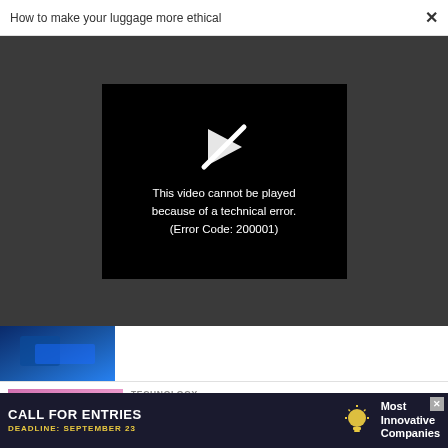How to make your luggage more ethical
[Figure (screenshot): Video player showing error message: 'This video cannot be played because of a technical error. (Error Code: 200001)' on a dark background with broken play icon]
[Figure (photo): Small thumbnail image with blue tones, partial view]
TECHNOLOGY
Misinformation played a deadly role in both the COVID and HIV/AIDS pandemics
[Figure (photo): Advertisement banner: CALL FOR ENTRIES, DEADLINE: SEPTEMBER 23, Most Innovative Companies]